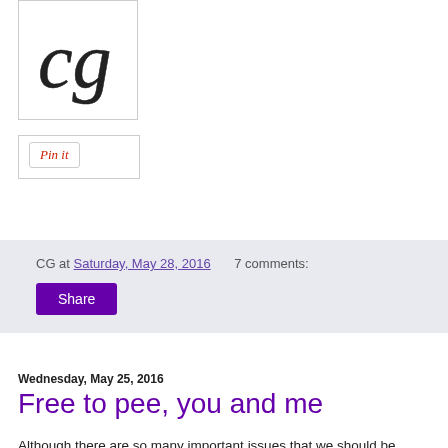[Figure (logo): Stylized 'CG' cursive script logo in black on white background with border]
[Figure (other): Pin it button inside a bordered white box]
CG at Saturday, May 28, 2016   7 comments:
Share
Wednesday, May 25, 2016
Free to pee, you and me
Although there are so many important issues that we should be addressing, some people have lost their minds and have driven this country into a weird conversation about who should use what bathroom. I think my mom put it best when she said, Why is this such a deal? Transgender people have been using the bathroom for centuries! I've used many a